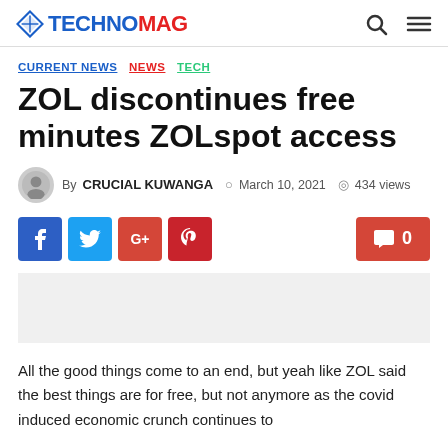TECHNOMAG
CURRENT NEWS NEWS TECH
ZOL discontinues free minutes ZOLspot access
By CRUCIAL KUWANGA  March 10, 2021  434 views
All the good things come to an end, but yeah like ZOL said the best things are for free, but not anymore as the covid induced economic crunch continues to